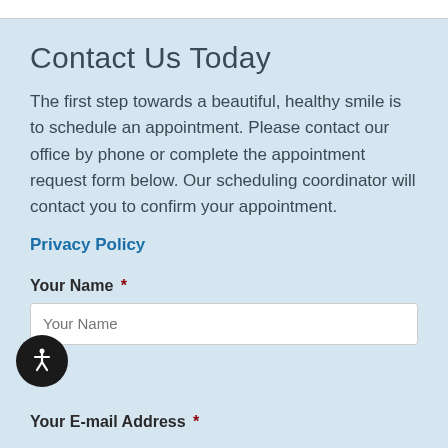Contact Us Today
The first step towards a beautiful, healthy smile is to schedule an appointment. Please contact our office by phone or complete the appointment request form below. Our scheduling coordinator will contact you to confirm your appointment.
Privacy Policy
Your Name *
Your E-mail Address *